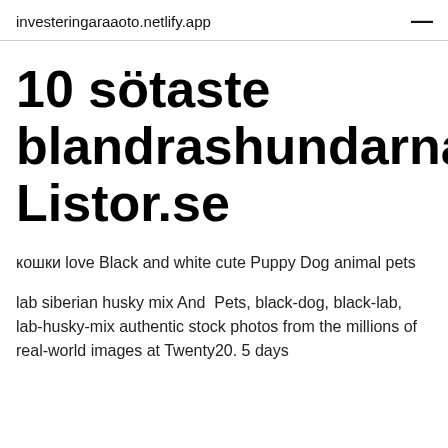investeringaraaoto.netlify.app
10 sötaste blandrashundarna Listor.se
кошки love Black and white cute Puppy Dog animal pets
lab siberian husky mix And  Pets, black-dog, black-lab, lab-husky-mix authentic stock photos from the millions of real-world images at Twenty20. 5 days